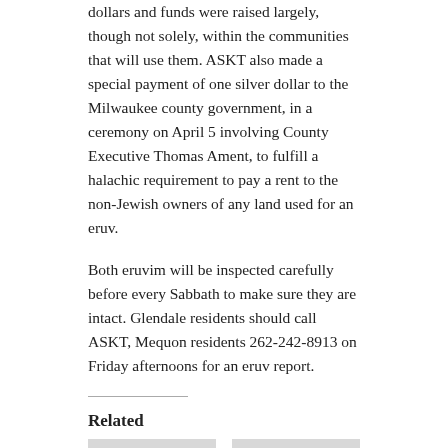dollars and funds were raised largely, though not solely, within the communities that will use them. ASKT also made a special payment of one silver dollar to the Milwaukee county government, in a ceremony on April 5 involving County Executive Thomas Ament, to fulfill a halachic requirement to pay a rent to the non-Jewish owners of any land used for an eruv.
Both eruvim will be inspected carefully before every Sabbath to make sure they are intact. Glendale residents should call ASKT, Mequon residents 262-242-8913 on Friday afternoons for an eruv report.
Related
[Figure (photo): Placeholder image for related article: Shorewood eruv could be done soon]
Shorewood eruv could be done soon
March 31, 2008 | 24
[Figure (photo): Placeholder image for related article: Invisible 'eruv' perimeter will ease Shabbat rules]
Invisible ‘eruv’ perimeter will ease Shabbat rules
March 31, 2008 | 24